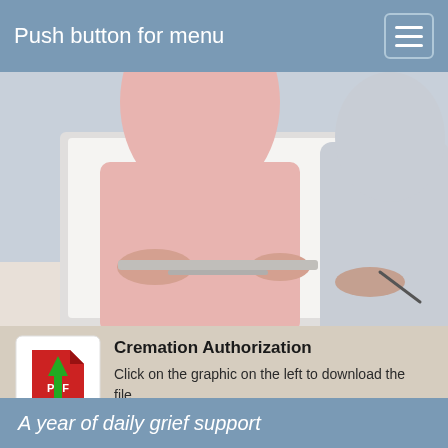Push button for menu
[Figure (photo): Two people working together at a laptop computer, one wearing pink and the other wearing light grey, photographed from above/behind]
Cremation Authorization
Click on the graphic on the left to download the file.
[Figure (infographic): Three circular icon buttons: a flower/settings gear icon, a car icon, and a Facebook 'f' icon, all in teal blue circles]
A year of daily grief support